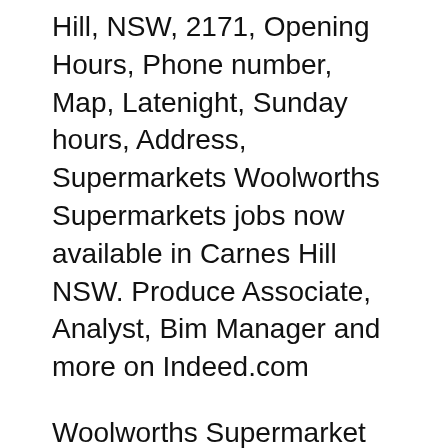Hill, NSW, 2171, Opening Hours, Phone number, Map, Latenight, Sunday hours, Address, Supermarkets Woolworths Supermarkets jobs now available in Carnes Hill NSW. Produce Associate, Analyst, Bim Manager and more on Indeed.com
Woolworths Supermarket jobs now available in Carnes Hill NSW. Quality Assurance Analyst, Store Manager, Barista and more on Indeed.com Our people are at the heart of our business. We depend on our 190,000 staff across our stores, distribution centres and support offices to provide our customers with exceptional service, products and prices. Which is why we invest...